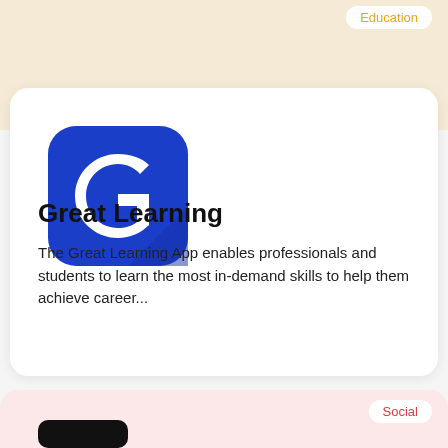Education
[Figure (logo): Great Learning app logo — blue rounded square with white G letter icon]
Great Learning
The Great Learning App enables professionals and students to learn the most in-demand skills to help them achieve career...
Social